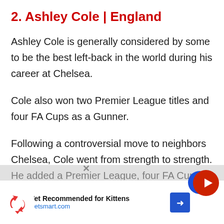2. Ashley Cole | England
Ashley Cole is generally considered by some to be the best left-back in the world during his career at Chelsea.
Cole also won two Premier League titles and four FA Cups as a Gunner.
Following a controversial move to neighbors Chelsea, Cole went from strength to strength. He added a Premier League, four FA Cups, a League and a Champions League to his trophy
[Figure (screenshot): Advertisement overlay at bottom: PetSmart ad reading 'Vet Recommended for Kittens' and 'Petsmart.com'. Video player overlay with 'No compatible source was found for this' text. Various UI icons (red circle, blue circle with bell, navigation arrow).]